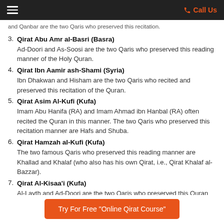Call Us
and Qanbar are the two Qaris who preserved this recitation.
3. Qirat Abu Amr al-Basri (Basra) — Ad-Doori and As-Soosi are the two Qaris who preserved this reading manner of the Holy Quran.
4. Qirat Ibn Aamir ash-Shami (Syria) — Ibn Dhakwan and Hisham are the two Qaris who recited and preserved this recitation of the Quran.
5. Qirat Asim Al-Kufi (Kufa) — Imam Abu Hanifa (RA) and Imam Ahmad ibn Hanbal (RA) often recited the Quran in this manner. The two Qaris who preserved this recitation manner are Hafs and Shuba.
6. Qirat Hamzah al-Kufi (Kufa) — The two famous Qaris who preserved this reading manner are Khallad and Khalaf (who also has his own Qirat, i.e., Qirat Khalaf al-Bazzar).
7. Qirat Al-Kisaa'i (Kufa) — Al-Layth and Ad-Doori are the two Qaris who preserved this Quran recitation manner.
In total, there are ten Qirat, but only seven of them…
Try For Free "Online Qirat Course"